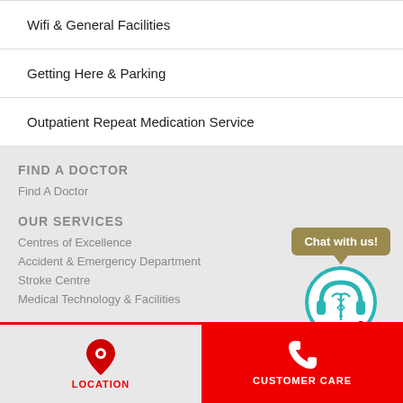Wifi & General Facilities
Getting Here & Parking
Outpatient Repeat Medication Service
FIND A DOCTOR
Find A Doctor
OUR SERVICES
[Figure (illustration): Chat with us widget showing a speech bubble with 'Chat with us!' text and a circular medical customer service icon with caduceus symbol]
Centres of Excellence
Accident & Emergency Department
Stroke Centre
Medical Technology & Facilities
LOCATION | CUSTOMER CARE